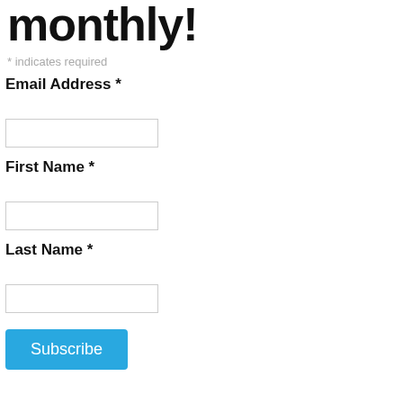monthly!
* indicates required
Email Address *
First Name *
Last Name *
Subscribe